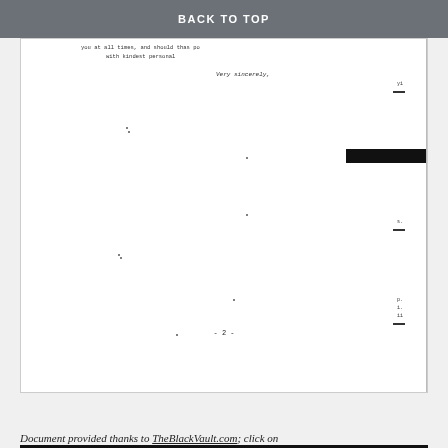BACK TO TOP
Very sincerely,
[Figure (other): Redacted black rectangle covering a signature or name, with handwritten letter A to the right]
- 2 -
Document provided thanks to TheBlackVault.com; click on